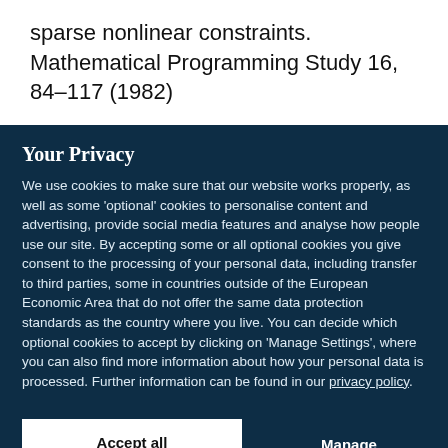sparse nonlinear constraints. Mathematical Programming Study 16, 84–117 (1982)
Your Privacy
We use cookies to make sure that our website works properly, as well as some 'optional' cookies to personalise content and advertising, provide social media features and analyse how people use our site. By accepting some or all optional cookies you give consent to the processing of your personal data, including transfer to third parties, some in countries outside of the European Economic Area that do not offer the same data protection standards as the country where you live. You can decide which optional cookies to accept by clicking on 'Manage Settings', where you can also find more information about how your personal data is processed. Further information can be found in our privacy policy.
Accept all cookies
Manage preferences